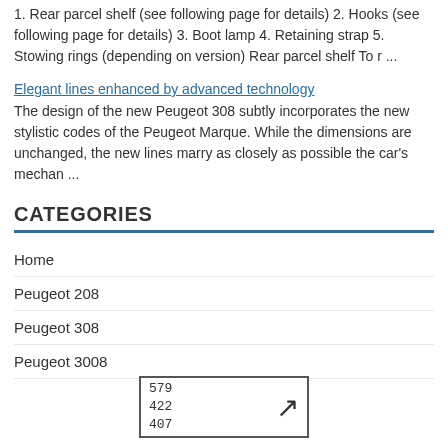1. Rear parcel shelf (see following page for details) 2. Hooks (see following page for details) 3. Boot lamp 4. Retaining strap 5. Stowing rings (depending on version) Rear parcel shelf To r ...
Elegant lines enhanced by advanced technology
The design of the new Peugeot 308 subtly incorporates the new stylistic codes of the Peugeot Marque. While the dimensions are unchanged, the new lines marry as closely as possible the car's mechan ...
CATEGORIES
Home
Peugeot 208
Peugeot 308
Peugeot 3008
[Figure (other): Small box with numbers 579, 422, 407 and an arrow icon pointing top-right]